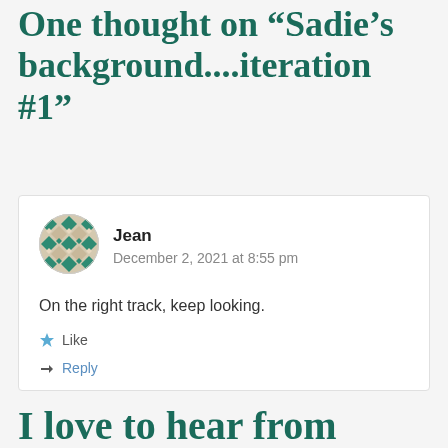One thought on “Sadie’s background....iteration #1”
[Figure (illustration): Circular avatar with a geometric quilt-like pattern in teal and beige colors]
Jean
December 2, 2021 at 8:55 pm
On the right track, keep looking.
Like
Reply
I love to hear from